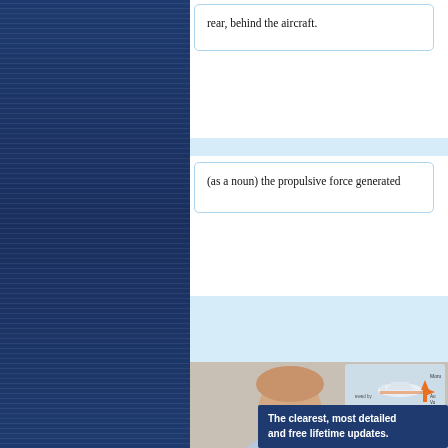[Figure (other): Dark navy blue left panel with horizontal line texture pattern]
rear, behind the aircraft.
(as a noun) the propulsive force generated
[Figure (infographic): Dark navy blue promotional box with text: The clearest, most detailed and free lifetime updates.]
[Figure (photo): Photo of a young smiling man in a shirt and tie, with an aviation diagram visible behind him showing aircraft with arrows labeled Mora, and other aviation terms]